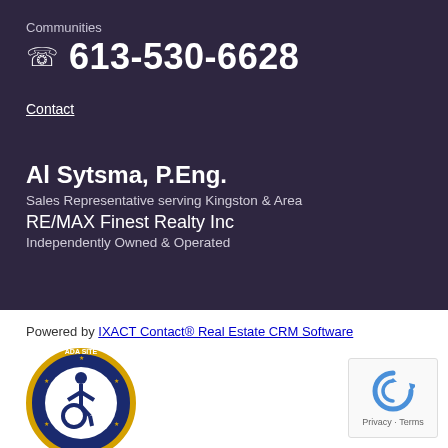Communities
613-530-6628
Contact
Al Sytsma, P.Eng.
Sales Representative serving Kingston & Area
RE/MAX Finest Realty Inc
Independently Owned & Operated
Powered by IXACT Contact® Real Estate CRM Software
[Figure (logo): ADA Site Compliance accessibility badge - circular badge with wheelchair symbol]
[Figure (logo): Google reCAPTCHA widget with Privacy and Terms links]